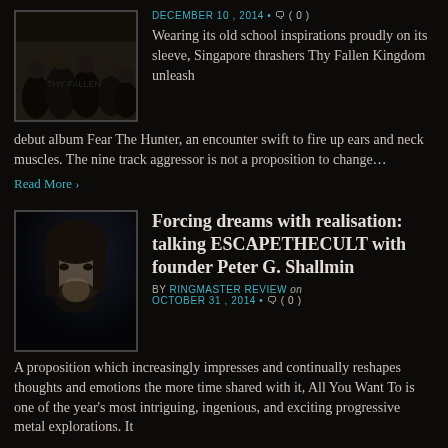[Figure (photo): Group photo of a metal band, likely Thy Fallen Kingdom, against a dark background]
DECEMBER 10, 2014 · 💬 ( 0 )
Wearing its old school inspirations proudly on its sleeve, Singapore thrashers Thy Fallen Kingdom unleash debut album Fear The Hunter, an encounter swift to fire up ears and neck muscles. The nine track aggressor is not a proposition to change…
Read More ›
[Figure (photo): Portrait photo of Peter G. Shallmin, founder of ESCAPETHECULT, with long hair and beard against a dark background]
Forcing dreams with realisation: talking ESCAPETHECULT with founder Peter G. Shallmin
BY RINGMASTER REVIEW on OCTOBER 31, 2014 · 💬 ( 0 )
A proposition which increasingly impresses and continually reshapes thoughts and emotions the more time shared with it, All You Want To is one of the year's most intriguing, ingenious, and exciting progressive metal explorations. It